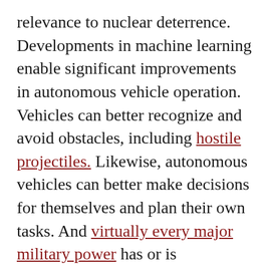relevance to nuclear deterrence. Developments in machine learning enable significant improvements in autonomous vehicle operation. Vehicles can better recognize and avoid obstacles, including hostile projectiles. Likewise, autonomous vehicles can better make decisions for themselves and plan their own tasks. And virtually every major military power has or is developing unmanned systems with varying levels of autonomy.

AI also enables the use of drones en masse and true drone swarms. Human cognition